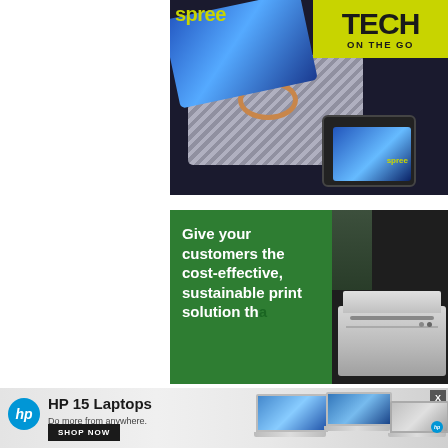[Figure (photo): Advertisement showing tech products (laptop, tablet) in a bag with 'TECH ON THE GO' text and 'spree' branding on a yellow-green banner]
[Figure (photo): Advertisement for sustainable print solution showing a printer on dark background with green panel text: 'Give your customers the cost-effective, sustainable print solution th...']
[Figure (photo): HP advertisement banner: 'HP 15 Laptops — Do more from anywhere. All-day long.' with SHOP NOW button, HP logo, and images of silver laptops]